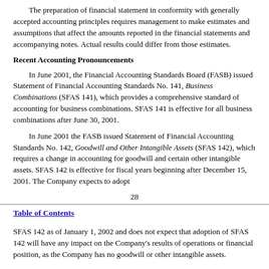The preparation of financial statement in conformity with generally accepted accounting principles requires management to make estimates and assumptions that affect the amounts reported in the financial statements and accompanying notes. Actual results could differ from those estimates.
Recent Accounting Pronouncements
In June 2001, the Financial Accounting Standards Board (FASB) issued Statement of Financial Accounting Standards No. 141, Business Combinations (SFAS 141), which provides a comprehensive standard of accounting for business combinations. SFAS 141 is effective for all business combinations after June 30, 2001.
In June 2001 the FASB issued Statement of Financial Accounting Standards No. 142, Goodwill and Other Intangible Assets (SFAS 142), which requires a change in accounting for goodwill and certain other intangible assets. SFAS 142 is effective for fiscal years beginning after December 15, 2001. The Company expects to adopt
28
Table of Contents
SFAS 142 as of January 1, 2002 and does not expect that adoption of SFAS 142 will have any impact on the Company's results of operations or financial position, as the Company has no goodwill or other intangible assets.